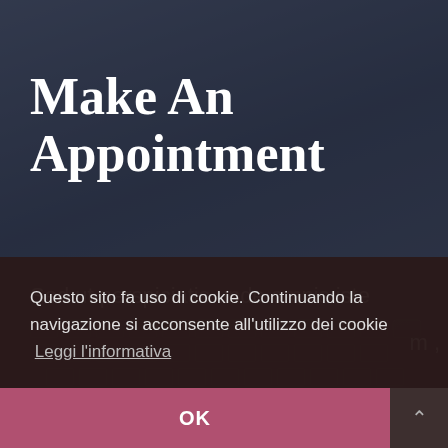Make An Appointment
Sed ut perspiciatis unde omnis iste
Questo sito fa uso di cookie. Continuando la navigazione si acconsente all'utilizzo dei cookie  Leggi l'informativa
OK